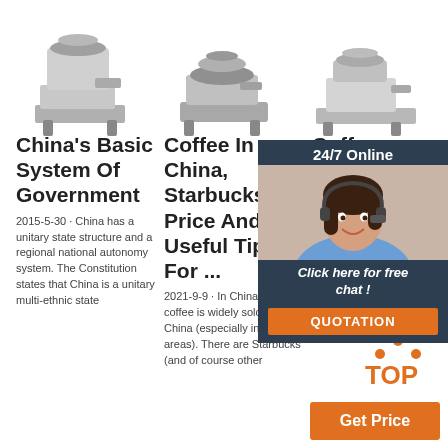[Figure (photo): Three industrial coffee grinder machines shown side by side at top of page]
China's Basic System Of Government
2015-5-30 · China has a unitary state structure and a regional national autonomy system. The Constitution states that China is a unitary multi-ethnic state
Coffee In China, Starbucks, Price And Useful Tips For ...
2021-9-9 · In China, instant coffee is widely sold in China (especially in urban areas). There are Starbucks (and of course other
Coff
The th delight Coffee Bean t Pump Drip co makers Coffee Accessories. LatteCrema System.
[Figure (photo): 24/7 Online chat widget with photo of customer service representative wearing headset]
Click here for free chat !
QUOTATION
[Figure (logo): TOP logo with orange triangle dots above orange text TOP]
Get Price